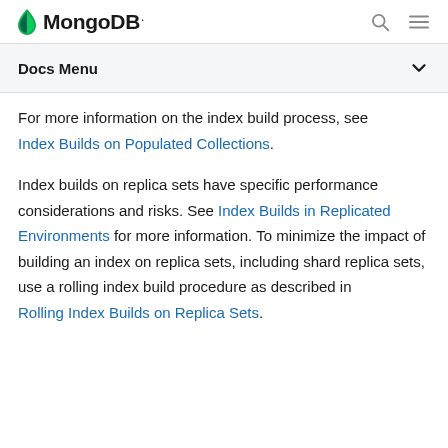MongoDB
Docs Menu
For more information on the index build process, see Index Builds on Populated Collections.
Index builds on replica sets have specific performance considerations and risks. See Index Builds in Replicated Environments for more information. To minimize the impact of building an index on replica sets, including shard replica sets, use a rolling index build procedure as described in Rolling Index Builds on Replica Sets.